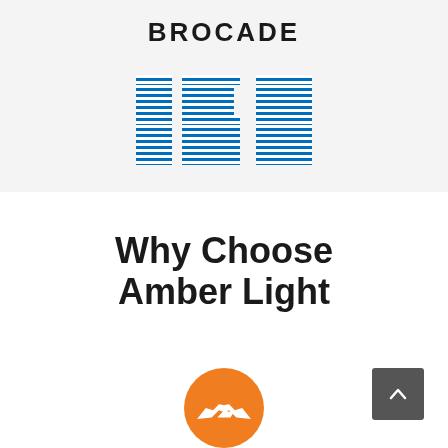[Figure (logo): BROCADE company logo in bold black uppercase letters]
[Figure (logo): IBM logo in blue horizontal stripes forming the letters I, B, M]
Why Choose Amber Light
[Figure (illustration): Orange circle with a white handshake icon partially visible at bottom of page]
[Figure (other): Dark gray scroll-to-top button with upward chevron arrow icon]